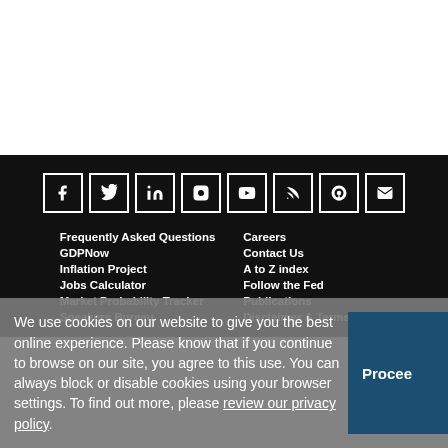[Figure (other): Row of 8 social media icon boxes (Facebook, Twitter, LinkedIn, Instagram, YouTube, RSS, Podcast, Email) on black background]
Frequently Asked Questions
GDPNow
Inflation Project
Jobs Calculator
Market Probability Tracker
Speakers Bureau
Careers
Contact Us
A to Z index
Follow the Fed
Publications
Disclaimer & Terms of Use
We use cookies on our website to give you the best online experience. Please know that if you continue to browse on our site, you agree to this use. You can always block or disable cookies using your browser settings. To find out more, please review our privacy policy.